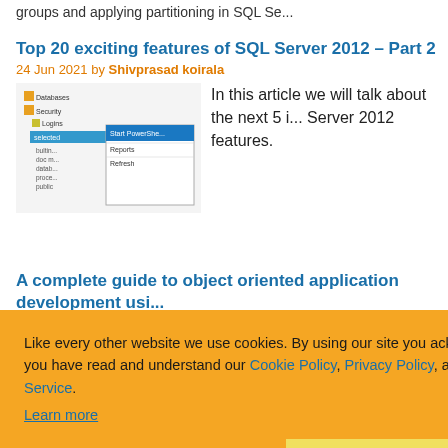groups and applying partitioning in SQL Se...
Top 20 exciting features of SQL Server 2012 – Part 2
24 Jun 2021 by Shivprasad koirala
[Figure (screenshot): Screenshot of SQL Server Management Studio showing database tree with context menu open]
In this article we will talk about the next 5 i... Server 2012 features.
A complete guide to object oriented application development usi...
Like every other website we use cookies. By using our site you acknowledge that you have read and understand our Cookie Policy, Privacy Policy, and our Terms of Service. Learn more
...velop aplication us... rk. We will develop... in this Article.
...with Repository Patte...
Using IOC/DI and Repository Factory with...